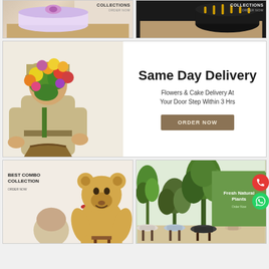[Figure (photo): Two banner images side by side: left shows a floral/cake gift box with text 'COLLECTIONS / ORDER NOW', right shows a dark chocolate cake with text 'COLLECTIONS / ORDER NOW']
[Figure (photo): Same Day Delivery banner: delivery man holding large floral bouquet on left, text on right: 'Same Day Delivery / Flowers & Cake Delivery At Your Door Step Within 3 Hrs' with 'ORDER NOW' button]
[Figure (photo): Best Combo Collection banner on left: teddy bear, small bouquet, with text 'BEST COMBO COLLECTION / ORDER NOW']
[Figure (photo): Fresh Natural Plants banner on right: several potted plants with green box overlay text 'Fresh Natural Plants / Order Now']